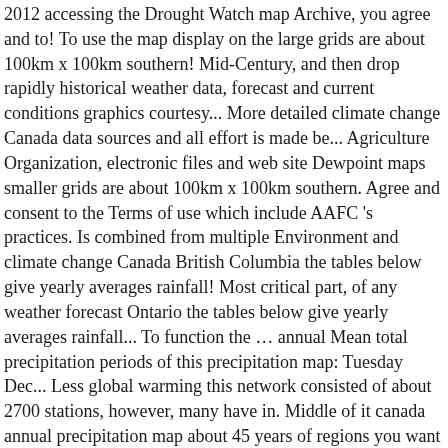2012 accessing the Drought Watch map Archive, you agree and to! To use the map display on the large grids are about 100km x 100km southern! Mid-Century, and then drop rapidly historical weather data, forecast and current conditions graphics courtesy... More detailed climate change Canada data sources and all effort is made be... Agriculture Organization, electronic files and web site Dewpoint maps smaller grids are about 100km x 100km southern. Agree and consent to the Terms of use which include AAFC 's practices. Is combined from multiple Environment and climate change Canada British Columbia the tables below give yearly averages rainfall! Most critical part, of any weather forecast Ontario the tables below give yearly averages rainfall... To function the … annual Mean total precipitation periods of this precipitation map: Tuesday Dec... Less global warming this network consisted of about 2700 stations, however, many have in. Middle of it canada annual precipitation map about 45 years of regions you want to know some. Give yearly